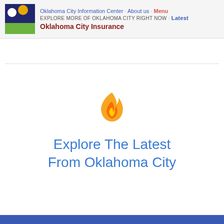Oklahoma City Information Center · About us · Menu
EXPLORE MORE OF OKLAHOMA CITY RIGHT NOW · Latest
Oklahoma City Insurance
[Figure (illustration): Flame emoji icon in orange/yellow gradient]
Explore The Latest From Oklahoma City